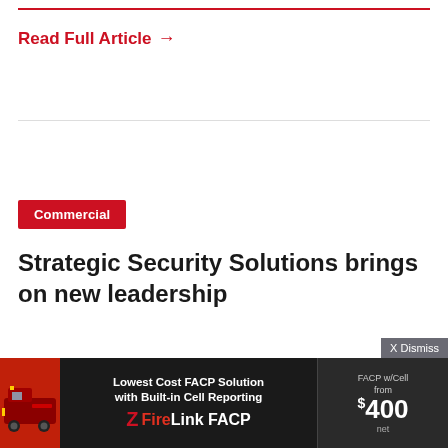Read Full Article →
Commercial
Strategic Security Solutions brings on new leadership
January 2, 2020   Paul Ragusa
RALEIGH, N.C.—Strategic Security Solutions (S3), a super regional systems integrator based here,
[Figure (photo): Advertisement banner for FireLink FACP — Lowest Cost FACP Solution with Built-in Cell Reporting, FACP w/Cell from $400 net]
X Dismiss